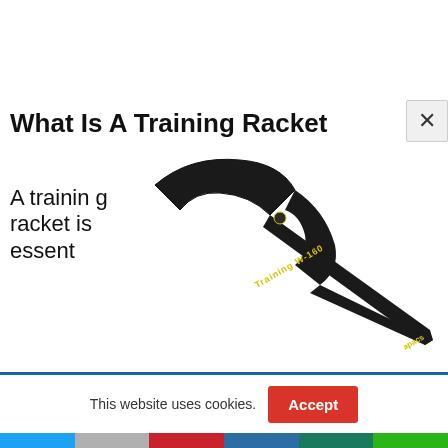What Is A Training Racket
A training racket is essent
[Figure (photo): Close-up photo of a black badminton training racket labeled 'Training W-160' and 'apacs']
This website uses cookies.
Accept